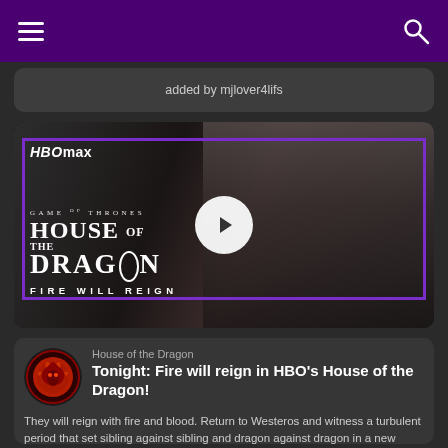added by mjlover4lifs
[Figure (screenshot): HBO Max video thumbnail for House of the Dragon trailer showing a white-haired character, with play button overlay and purple border. Text overlay reads: Game of Thrones House of the Dragon Fire Will Reign]
House of the Dragon
Tonight: Fire will reign in HBO's House of the Dragon!
They will reign with fire and blood. Return to Westeros and witness a turbulent period that set sibling against sibling and dragon against dragon in a new teaser for House of the Dragon, added by DarkSarcasm! House